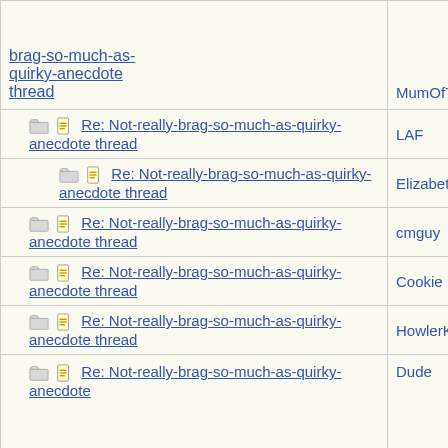| Subject | Author |
| --- | --- |
| brag-so-much-as-quirky-anecdote thread | MumOfT... |
| Re: Not-really-brag-so-much-as-quirky-anecdote thread | LAF |
| Re: Not-really-brag-so-much-as-quirky-anecdote thread | Elizabeth... |
| Re: Not-really-brag-so-much-as-quirky-anecdote thread | cmguy |
| Re: Not-really-brag-so-much-as-quirky-anecdote thread | Cookie |
| Re: Not-really-brag-so-much-as-quirky-anecdote thread | HowlerKa... |
| Re: Not-really-brag-so-much-as-quirky-anecdote thread | Dude |